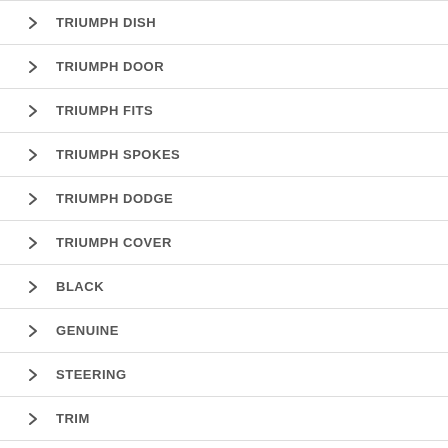TRIUMPH DISH
TRIUMPH DOOR
TRIUMPH FITS
TRIUMPH SPOKES
TRIUMPH DODGE
TRIUMPH COVER
BLACK
GENUINE
STEERING
TRIM
COUGAR